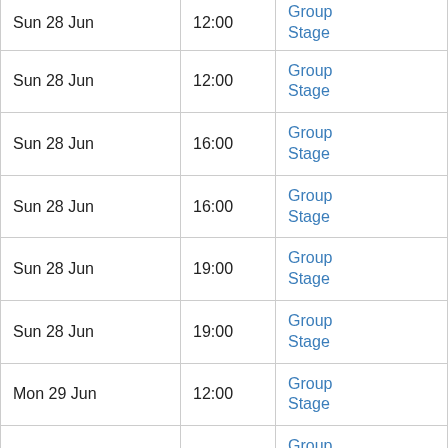| Date | Time | Stage |
| --- | --- | --- |
| Sun 28 Jun | 12:00 | Group Stage |
| Sun 28 Jun | 12:00 | Group Stage |
| Sun 28 Jun | 16:00 | Group Stage |
| Sun 28 Jun | 16:00 | Group Stage |
| Sun 28 Jun | 19:00 | Group Stage |
| Sun 28 Jun | 19:00 | Group Stage |
| Mon 29 Jun | 12:00 | Group Stage |
| Mon 29 Jun | 12:00 | Group Stage |
| Mon 29 Jun | 12:00 | Group Stage |
| Mon 29 Jun | 16:00 | Group Stage |
| Mon 29 Jun | 16:00 | Group Stage |
| Mon 29 Jun | 19:00 | Group Stage |
| Mon 29 Jun | 19:00 | Group (partial) |